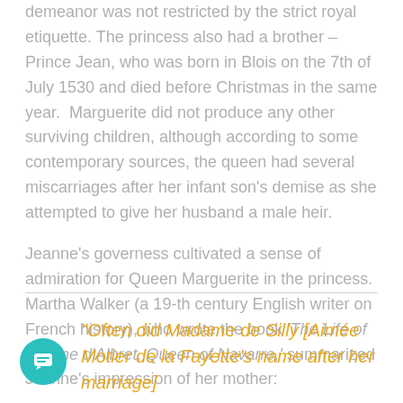demeanor was not restricted by the strict royal etiquette. The princess also had a brother – Prince Jean, who was born in Blois on the 7th of July 1530 and died before Christmas in the same year. Marguerite did not produce any other surviving children, although according to some contemporary sources, the queen had several miscarriages after her infant son's demise as she attempted to give her husband a male heir.
Jeanne's governess cultivated a sense of admiration for Queen Marguerite in the princess. Martha Walker (a 19-th century English writer on French history), who wrote the book 'The Life of Jeanne d'Albret, Queen of Navarre,' summarized Jeanne's impression of her mother:
“Often did Madame de Silly [Aimée Motier de la Fayette’s name after her marriage]